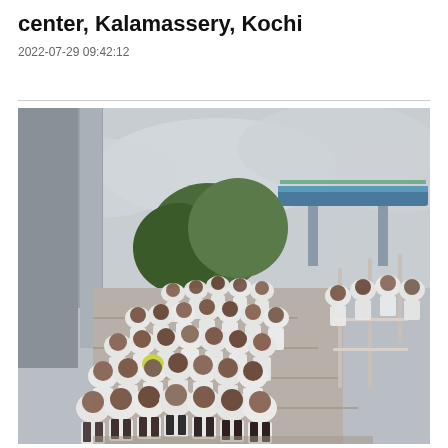center, Kalamassery, Kochi
2022-07-29 09:42:12
[Figure (photo): A large group of people wearing white t-shirts posing for a group photo on the steps outside a metro station. There is a metro rail bridge visible in the background along with trees and an overcast sky. The group appears to be at Kalamassery metro station, Kochi.]